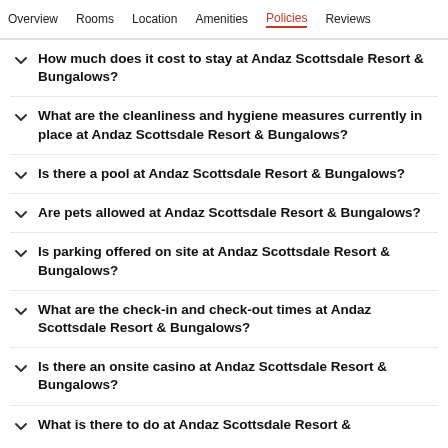Overview  Rooms  Location  Amenities  Policies  Reviews
How much does it cost to stay at Andaz Scottsdale Resort & Bungalows?
What are the cleanliness and hygiene measures currently in place at Andaz Scottsdale Resort & Bungalows?
Is there a pool at Andaz Scottsdale Resort & Bungalows?
Are pets allowed at Andaz Scottsdale Resort & Bungalows?
Is parking offered on site at Andaz Scottsdale Resort & Bungalows?
What are the check-in and check-out times at Andaz Scottsdale Resort & Bungalows?
Is there an onsite casino at Andaz Scottsdale Resort & Bungalows?
What is there to do at Andaz Scottsdale Resort &